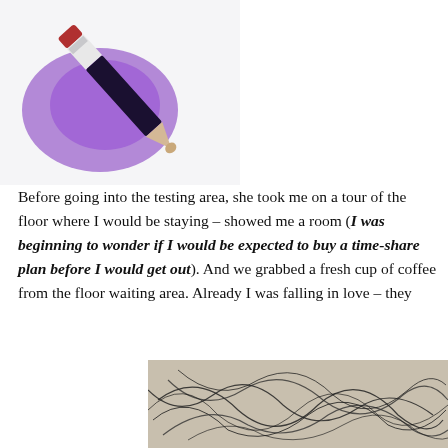[Figure (photo): A cosmetic pencil/crayon product with a purple glow effect on a white background]
Before going into the testing area, she took me on a tour of the floor where I would be staying – showed me a room (I was beginning to wonder if I would be expected to buy a time-share plan before I would get out). And we grabbed a fresh cup of coffee from the floor waiting area. Already I was falling in love – they
[Figure (photo): Close-up photo of scattered dark hair strands on a light beige/tan background]